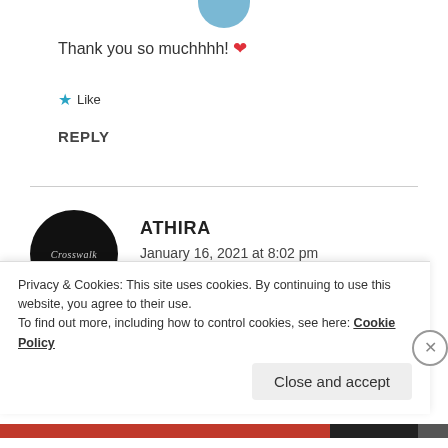[Figure (photo): Partial circular avatar photo visible at top center, showing a person's head]
Thank you so muchhhh! ❤
★ Like
REPLY
ATHIRA
January 16, 2021 at 8:02 pm
[Figure (photo): Circular black avatar with cursive text 'Crosswalk']
Vo...o...beautifull b....
Privacy & Cookies: This site uses cookies. By continuing to use this website, you agree to their use.
To find out more, including how to control cookies, see here: Cookie Policy
Close and accept